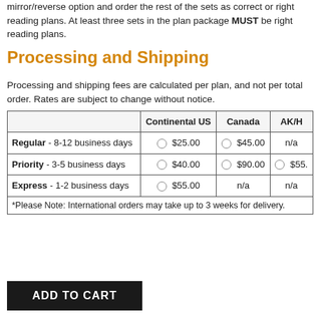mirror/reverse option and order the rest of the sets as correct or right reading plans. At least three sets in the plan package MUST be right reading plans.
Processing and Shipping
Processing and shipping fees are calculated per plan, and not per total order. Rates are subject to change without notice.
|  | Continental US | Canada | AK/H |
| --- | --- | --- | --- |
| Regular - 8-12 business days | ○ $25.00 | ○ $45.00 | n/a |
| Priority - 3-5 business days | ○ $40.00 | ○ $90.00 | ○ $55. |
| Express - 1-2 business days | ○ $55.00 | n/a | n/a |
| *Please Note: International orders may take up to 3 weeks for delivery. |  |  |  |